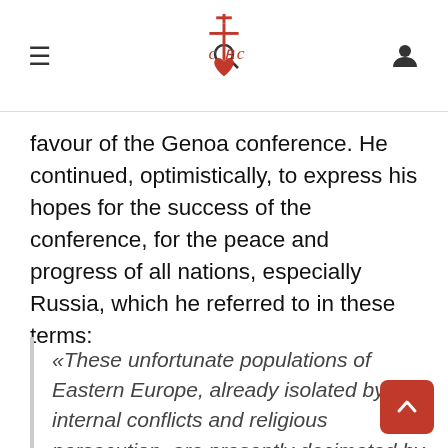Navigation header with menu, search, CRC logo, and user icon
favour of the Genoa conference. He continued, optimistically, to express his hopes for the success of the conference, for the peace and progress of all nations, especially Russia, which he referred to in these terms:
«These unfortunate populations of Eastern Europe, already isolated by war, internal conflicts and religious persecution, are presently decimated by famine and disease, even though they possess such great natural resources in their territories and could be powerful elements of social restoration. Although these peoples have long been separated from Our communion by unfortunate past events, We that Our word of compassion and consolation, as well as those of Our late predecessor, may reach